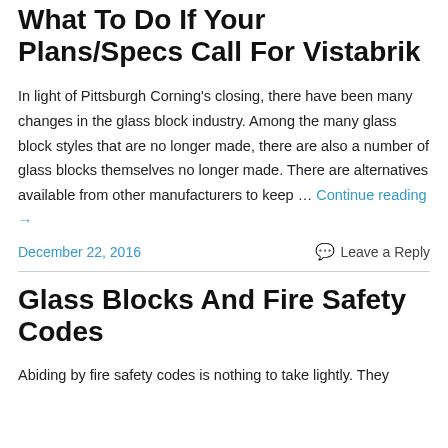What To Do If Your Plans/Specs Call For Vistabrik
In light of Pittsburgh Corning's closing, there have been many changes in the glass block industry. Among the many glass block styles that are no longer made, there are also a number of glass blocks themselves no longer made. There are alternatives available from other manufacturers to keep … Continue reading →
December 22, 2016    Leave a Reply
Glass Blocks And Fire Safety Codes
Abiding by fire safety codes is nothing to take lightly. They